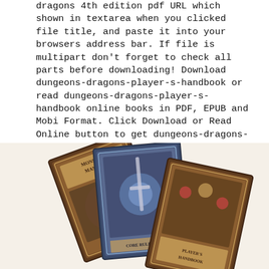dragons 4th edition pdf URL which shown in textarea when you clicked file title, and paste it into your browsers address bar. If file is multipart don't forget to check all parts before downloading! Download dungeons-dragons-player-s-handbook or read dungeons-dragons-player-s-handbook online books in PDF, EPUB and Mobi Format. Click Download or Read Online button to get dungeons-dragons-player-s-handbook book now..
[Figure (photo): Photo of three Dungeons & Dragons 4th edition book covers fanned out: Monster Manual, a core rulebook, and Player's Handbook, with decorative fantasy art covers in brown and gold tones.]